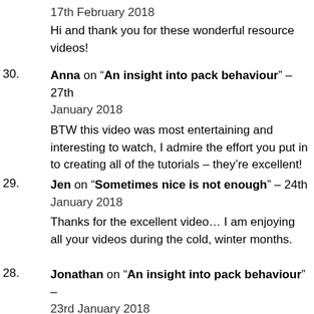17th February 2018
Hi and thank you for these wonderful resource videos!
30. Anna on “An insight into pack behaviour” – 27th January 2018
BTW this video was most entertaining and interesting to watch, I admire the effort you put in to creating all of the tutorials – they’re excellent!
29. Jen on “Sometimes nice is not enough” – 24th January 2018
Thanks for the excellent video… I am enjoying all your videos during the cold, winter months.
28. Jonathan on “An insight into pack behaviour” – 23rd January 2018